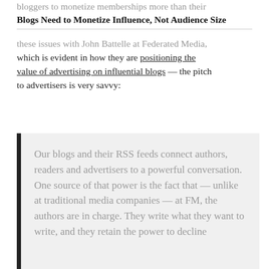bloggers to monetize memberships more than their
Blogs Need to Monetize Influence, Not Audience Size
these issues with John Battelle at Federated Media, which is evident in how they are positioning the value of advertising on influential blogs — the pitch to advertisers is very savvy:
Our blogs and their RSS feeds connect authors, readers and advertisers to a powerful conversation. One source of that power is the fact that — unlike at traditional media companies — at FM, the authors are in charge. They write what they want to write, and they retain the power to decline